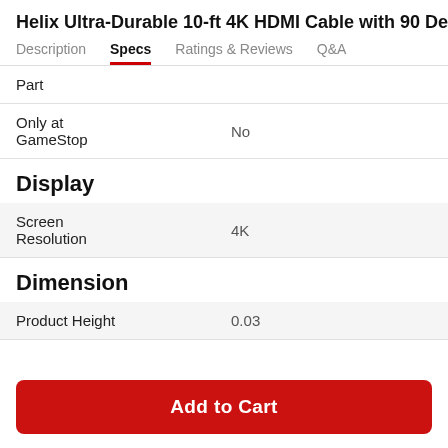Helix Ultra-Durable 10-ft 4K HDMI Cable with 90 Deg
Specs (active tab)
| Attribute | Value |
| --- | --- |
| Part |  |
| Only at GameStop | No |
| Screen Resolution | 4K |
| Product Height | 0.03 |
Add to Cart